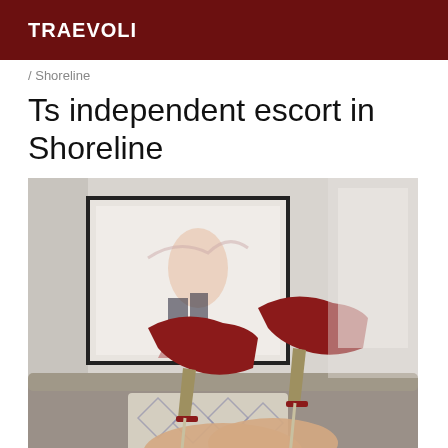TRAEVOLI
/ Shoreline
Ts independent escort in Shoreline
[Figure (photo): Close-up photo of red high-heel stiletto shoes being worn, with a framed artwork visible in the background showing a figure in heels, taken in a living room setting with a couch and decorative pillow.]